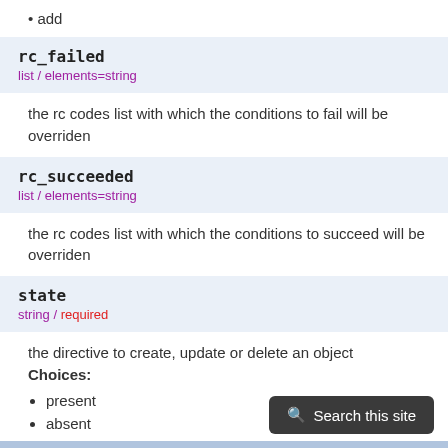add
rc_failed
list / elements=string
the rc codes list with which the conditions to fail will be overriden
rc_succeeded
list / elements=string
the rc codes list with which the conditions to succeed will be overriden
state
string / required
the directive to create, update or delete an object
Choices:
• present
• absent